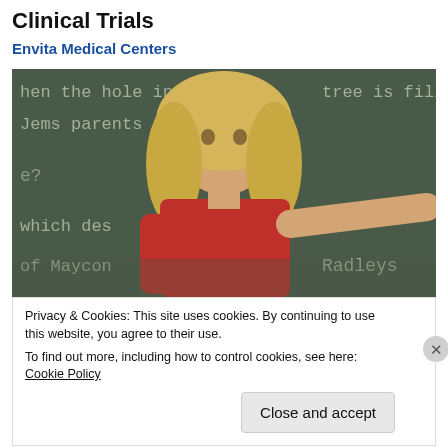Clinical Trials
Envita Medical Centers
[Figure (photo): A blonde woman in a red top standing in front of a chalkboard with text visible, pointing to the right. The chalkboard shows partial text including 'hen the hole in tree is fille', 'Jems parents', 'e?', 'which des', 'of Maycon', 'Radleys'.]
Privacy & Cookies: This site uses cookies. By continuing to use this website, you agree to their use.
To find out more, including how to control cookies, see here: Cookie Policy
Close and accept